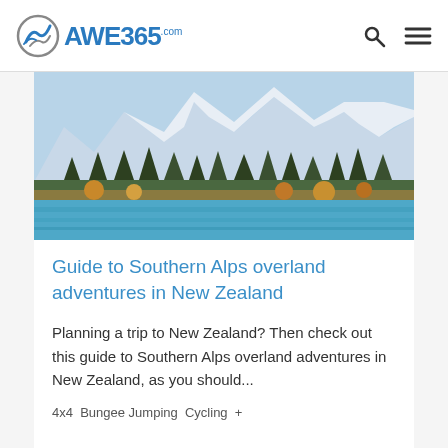AWE365.com
[Figure (photo): Scenic landscape of New Zealand Southern Alps: turquoise lake in foreground, row of autumn trees in middle ground, and snow-capped mountains in background under a blue sky.]
Guide to Southern Alps overland adventures in New Zealand
Planning a trip to New Zealand? Then check out this guide to Southern Alps overland adventures in New Zealand, as you should...
4x4  Bungee Jumping  Cycling  +